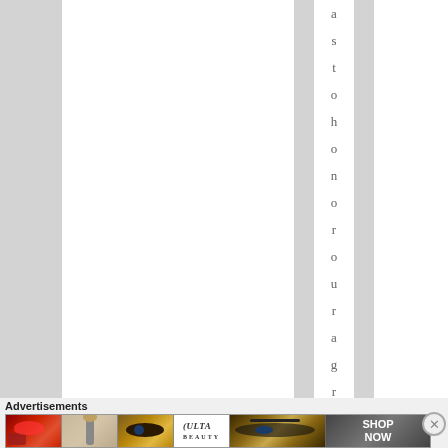[Figure (screenshot): Web page screenshot showing vertical column stripes (alternating white and gray) with a single vertical column containing the word 'astonhorouragement' spelled out character by character, one letter per line. Below the content area is an advertisement strip labeled 'Advertisements' containing a beauty/makeup banner ad with lip, brush, eye, ULTA beauty logo, smoky eye, and 'SHOP NOW' sections. A close button (X in a circle) appears at the bottom right.]
a s t o h o n o r o u r a g r e m
Advertisements
[Figure (screenshot): Horizontal beauty/makeup advertisement banner showing: red lips with makeup brush, powder brush on skin, eye with arched brow, ULTA beauty logo on white background, smoky eye makeup, and 'SHOP NOW' text on dark background.]